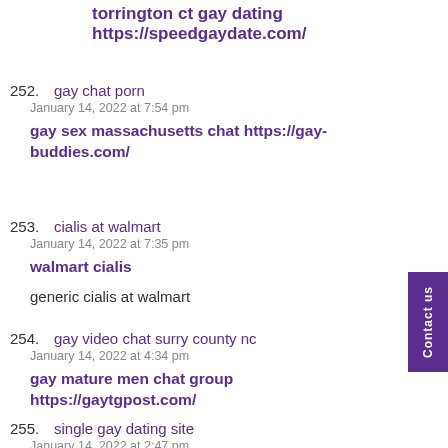torrington ct gay dating https://speedgaydate.com/
252. gay chat porn
January 14, 2022 at 7:54 pm
gay sex massachusetts chat https://gay-buddies.com/
253. cialis at walmart
January 14, 2022 at 7:35 pm
walmart cialis
generic cialis at walmart
254. gay video chat surry county nc
January 14, 2022 at 4:34 pm
gay mature men chat group https://gaytgpost.com/
255. single gay dating site
January 14, 2022 at 2:47 pm